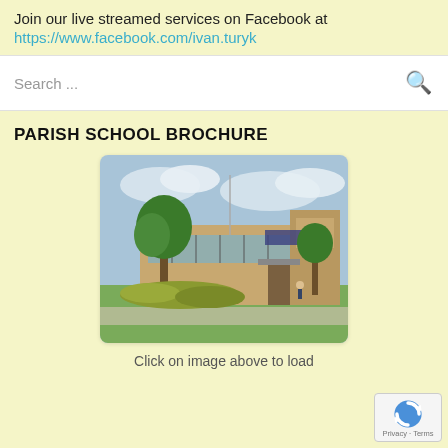Join our live streamed services on Facebook at https://www.facebook.com/ivan.turyk
Search ...
PARISH SCHOOL BROCHURE
[Figure (photo): Exterior photo of a parish school building with trees and green hedges in front, under a partly cloudy sky.]
Click on image above to load